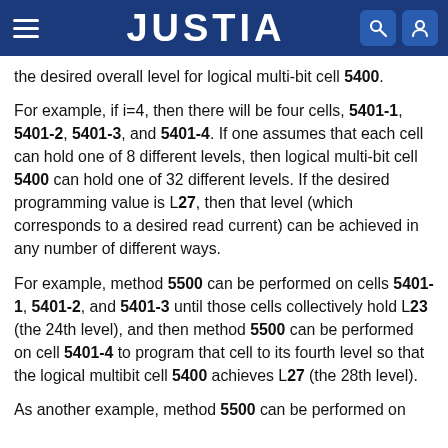JUSTIA
the desired overall level for logical multi-bit cell 5400.
For example, if i=4, then there will be four cells, 5401-1, 5401-2, 5401-3, and 5401-4. If one assumes that each cell can hold one of 8 different levels, then logical multi-bit cell 5400 can hold one of 32 different levels. If the desired programming value is L27, then that level (which corresponds to a desired read current) can be achieved in any number of different ways.
For example, method 5500 can be performed on cells 5401-1, 5401-2, and 5401-3 until those cells collectively hold L23 (the 24th level), and then method 5500 can be performed on cell 5401-4 to program that cell to its fourth level so that the logical multibit cell 5400 achieves L27 (the 28th level).
As another example, method 5500 can be performed on